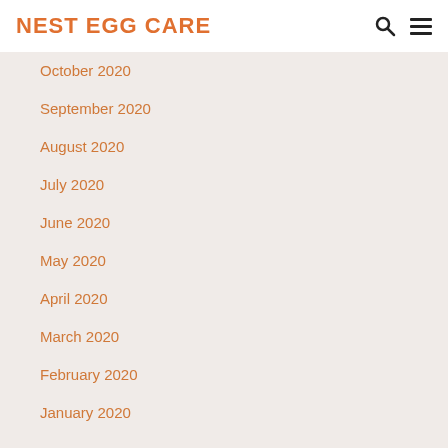NEST EGG CARE
October 2020
September 2020
August 2020
July 2020
June 2020
May 2020
April 2020
March 2020
February 2020
January 2020